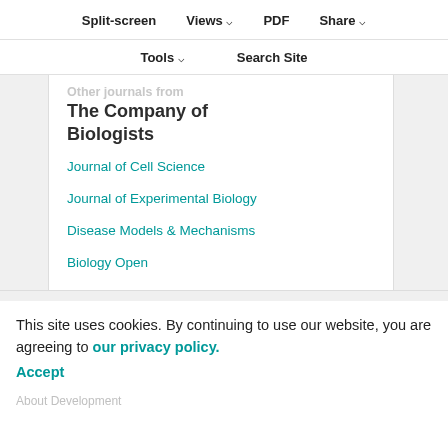Split-screen   Views ⌄   PDF   Share ⌄
Tools ⌄   Search Site
Other journals from The Company of Biologists
Journal of Cell Science
Journal of Experimental Biology
Disease Models & Mechanisms
Biology Open
This site uses cookies. By continuing to use our website, you are agreeing to our privacy policy. Accept
About Development